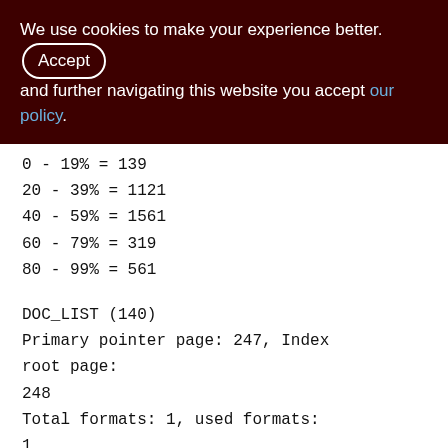We use cookies to make your experience better. By accepting and further navigating this website you accept our policy.
0 - 19% = 139
20 - 39% = 1121
40 - 59% = 1561
60 - 79% = 319
80 - 99% = 561
DOC_LIST (140)
Primary pointer page: 247, Index root page: 248
Total formats: 1, used formats: 1
Average record length: 60.41, total records: 656322
Average version length: 35.50, total